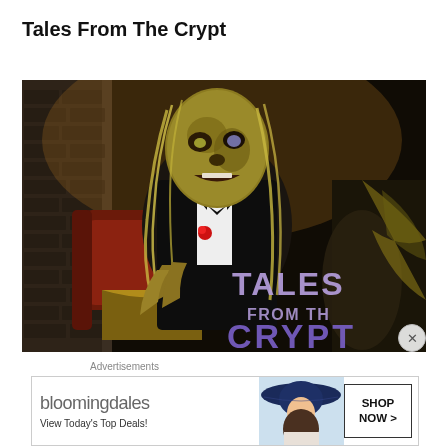Tales From The Crypt
[Figure (photo): Promotional photo of the Cryptkeeper character from 'Tales From The Crypt' — a decayed zombie/corpse puppet in a black tuxedo with bow tie and red boutonniere, with long blonde hair, sitting against a dark gothic backdrop. Text overlay reads 'TALES FROM THE CRYPT' in large stylized letters at the bottom right.]
Advertisements
[Figure (other): Bloomingdale's advertisement banner. Shows 'bloomingdales' logo text, tagline 'View Today's Top Deals!', image of a woman in a large blue hat, and a 'SHOP NOW >' button.]